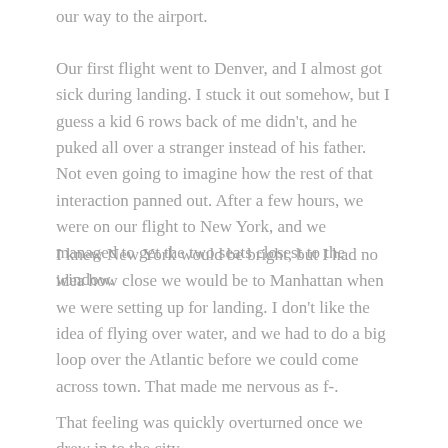our way to the airport.
Our first flight went to Denver, and I almost got sick during landing. I stuck it out somehow, but I guess a kid 6 rows back of me didn't, and he puked all over a stranger instead of his father. Not even going to imagine how the rest of that interaction panned out. After a few hours, we were on our flight to New York, and we managed to get the two seats closest to the window.
I knew New York would be bright, but I had no idea how close we would be to Manhattan when we were setting up for landing. I don't like the idea of flying over water, and we had to do a big loop over the Atlantic before we could come across town. That made me nervous as f-.
That feeling was quickly overturned once we drew in to the city.